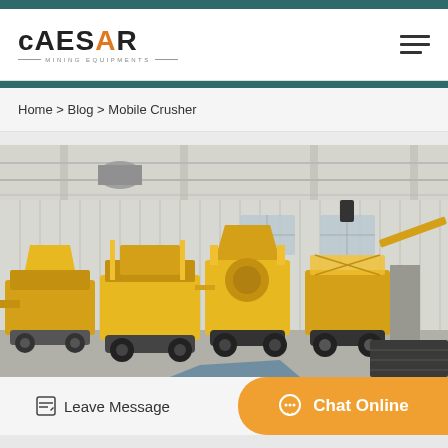[Figure (logo): Caesar Mining Equipments logo with orange triangle in letter A and tagline]
Home > Blog > Mobile Crusher
[Figure (photo): Industrial warehouse interior showing a line of yellow mobile crushing machines/equipment parked on the floor]
Leave Message
Chat Online